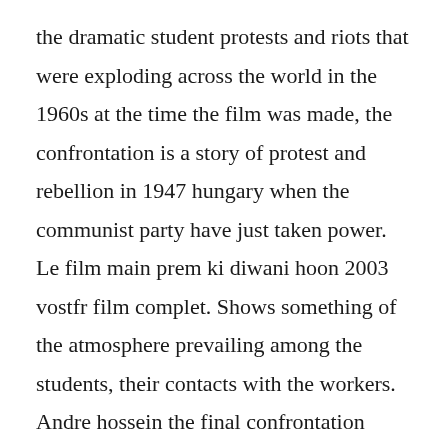the dramatic student protests and riots that were exploding across the world in the 1960s at the time the film was made, the confrontation is a story of protest and rebellion in 1947 hungary when the communist party have just taken power. Le film main prem ki diwani hoon 2003 vostfr film complet. Shows something of the atmosphere prevailing among the students, their contacts with the workers. Andre hossein the final confrontation 1969 youtube. Miklos jancsos the confrontation fenyes szelek, 1969 opens with a fourminute shot. The use of